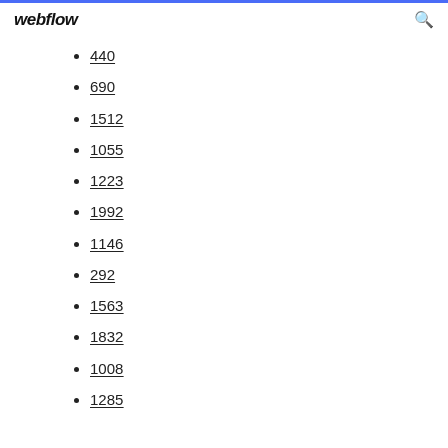webflow
440
690
1512
1055
1223
1992
1146
292
1563
1832
1008
1285